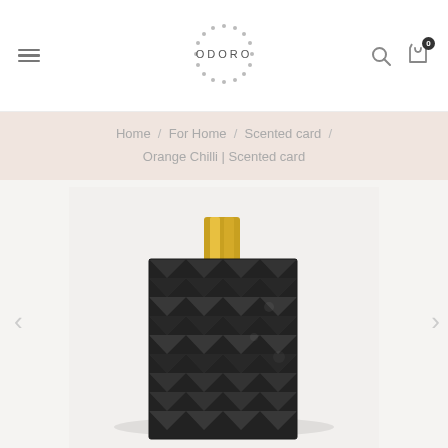ODORO — navigation bar with hamburger menu, logo, search, and cart (0 items)
Home / For Home / Scented card / Orange Chilli | Scented card
[Figure (photo): A dark geometric scented card with a gold/yellow ribbon tab at the top, featuring a textured pyramid-pattern surface, photographed against a light grey-white background. Navigation arrows (< >) are visible on the left and right sides.]